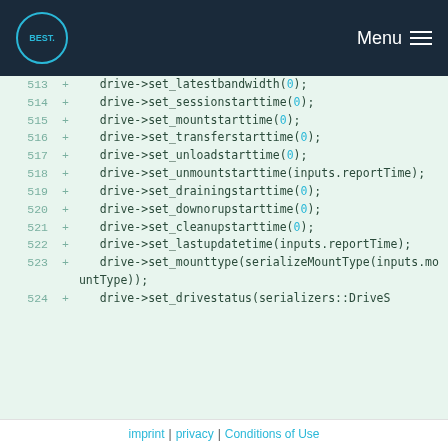Menu
[Figure (screenshot): Code diff view showing lines 513-524 with C++ drive object method calls including set_latestbandwidth, set_sessionstarttime, set_mountstarttime, set_transferstarttime, set_unloadstarttime, set_unmountstarttime, set_drainingstarttime, set_downorupstarttime, set_cleanupstarttime, set_lastupdatetime, set_mounttype, set_drivestatus]
imprint | privacy | Conditions of Use